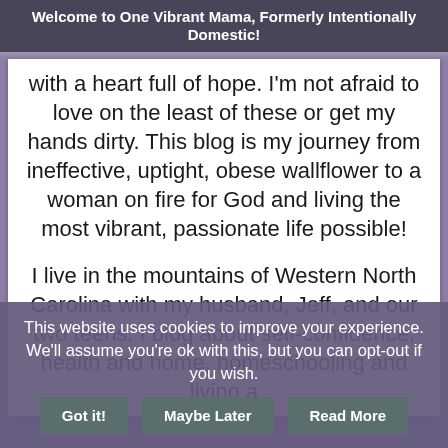Welcome to One Vibrant Mama, Formerly Intentionally Domestic!
with a heart full of hope. I'm not afraid to love on the least of these or get my hands dirty. This blog is my journey from ineffective, uptight, obese wallflower to a woman on fire for God and living the most vibrant, passionate life possible!
I live in the mountains of Western North Carolina with my husband, Jeff, and our two teens. I blog about self-confidence, health and home, homeschooling and living a
This website uses cookies to improve your experience. We'll assume you're ok with this, but you can opt-out if you wish.
Got it!   Maybe Later   Read More